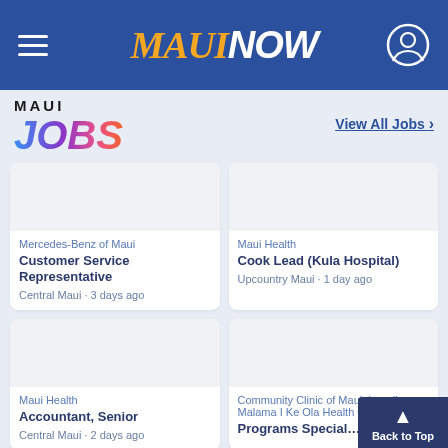MAUI NOW
[Figure (logo): MAUI JOBS logo with colorful gradient text]
View All Jobs >
Mercedes-Benz of Maui
Customer Service Representative
Central Maui · 3 days ago
Maui Health
Cook Lead (Kula Hospital)
Upcountry Maui · 1 day ago
Maui Health
Accountant, Senior
Central Maui · 2 days ago
Community Clinic of Maui, Inc. dba Malama I Ke Ola Health Center
Programs Special…